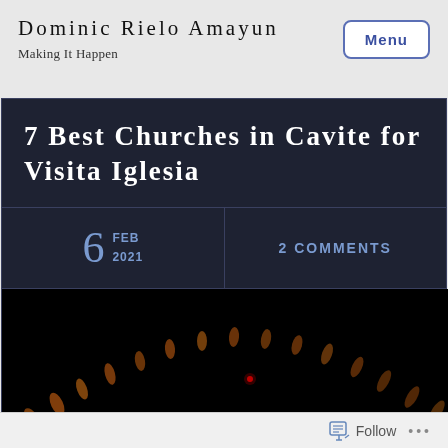Dominic Rielo Amayun
Making It Happen
7 Best Churches in Cavite for Visita Iglesia
6 FEB 2021
2 COMMENTS
[Figure (photo): Dark night photo showing blurred orange lights/candles in a curved line with a red light point visible, against a black background]
Follow ...